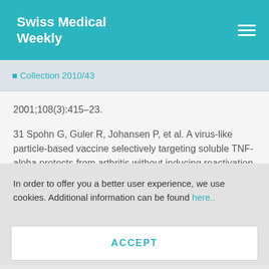Swiss Medical Weekly
◼ Collection 2010/43
2001;108(3):415–23.
31 Spohn G, Guler R, Johansen P, et al. A virus-like particle-based vaccine selectively targeting soluble TNF-alpha protects from arthritis without inducing reactivation of latent
In order to offer you a better user experience, we use cookies. Additional information can be found here..
ACCEPT